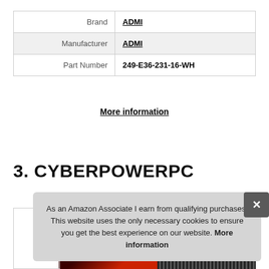| Brand | ADMI |
| Manufacturer | ADMI |
| Part Number | 249-E36-231-16-WH |
More information
3. CYBERPOWERPC
As an Amazon Associate I earn from qualifying purchases. This website uses the only necessary cookies to ensure you get the best experience on our website. More information
[Figure (photo): Partial product image strip at bottom of page showing two product photos side by side — left shows red/dark gaming PC, right shows dark textured surface]